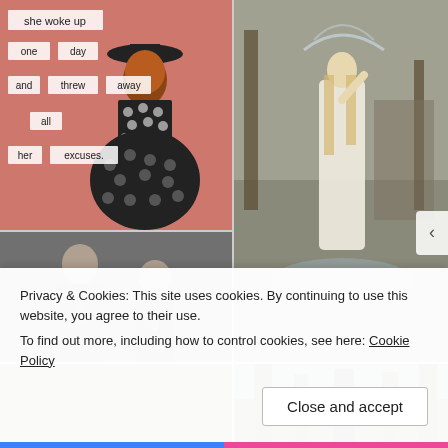[Figure (illustration): Mixed media collage illustration of a woman in a black polka-dot dress and wide-brimmed hat with red curly hair. Text labels on the image read: 'she woke up', 'one day', 'and threw away', 'all', 'her excuses.']
[Figure (photo): Classical painting of a young woman in a white dress standing near a fountain or waterfall, with trees and a building in the background. She has long flowing blonde hair.]
[Figure (photo): Vintage black and white photograph of two men in formal attire with suits and ties.]
[Figure (photo): Partially visible photograph of trees/forest, appears to be a nature scene with tall dark trees.]
Privacy & Cookies: This site uses cookies. By continuing to use this website, you agree to their use.
To find out more, including how to control cookies, see here: Cookie Policy
Close and accept